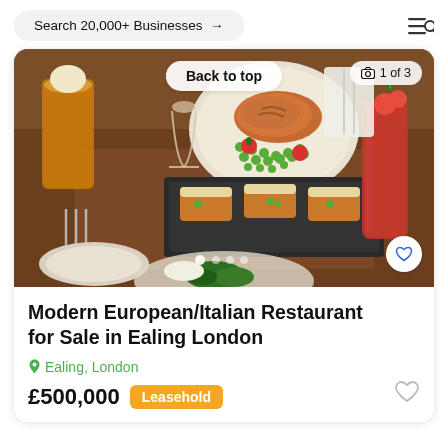Search 20,000+ Businesses →
[Figure (photo): Restaurant food spread on a wooden table: salmon with peas, breaded appetizers on slate board, drinks including a Bloody Mary, and side dishes.]
Back to top
📷 1 of 3
Modern European/Italian Restaurant for Sale in Ealing London
Ealing, London
£500,000 Leasehold